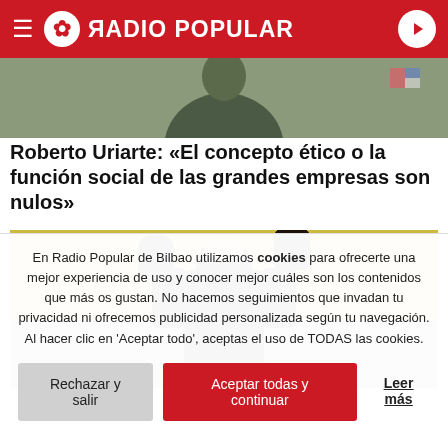RADIO POPULAR
[Figure (photo): Partial photo of a person in a dark jacket, cropped at the top]
Roberto Uriarte: «El concepto ético o la función social de las grandes empresas son nulos»
[Figure (photo): Football player raising fists in the air, celebrating, with yellow stadium background]
En Radio Popular de Bilbao utilizamos cookies para ofrecerte una mejor experiencia de uso y conocer mejor cuáles son los contenidos que más os gustan. No hacemos seguimientos que invadan tu privacidad ni ofrecemos publicidad personalizada según tu navegación. Al hacer clic en 'Aceptar todo', aceptas el uso de TODAS las cookies.
Rechazar y salir
Aceptar todas y continuar
Leer más